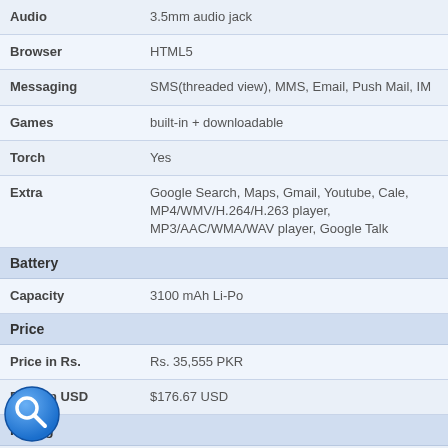| Feature | Value |
| --- | --- |
| Audio | 3.5mm audio jack |
| Browser | HTML5 |
| Messaging | SMS(threaded view), MMS, Email, Push Mail, IM |
| Games | built-in + downloadable |
| Torch | Yes |
| Extra | Google Search, Maps, Gmail, Youtube, Cale, MP4/WMV/H.264/H.263 player, MP3/AAC/WMA/WAV player, Google Talk |
Battery
| Feature | Value |
| --- | --- |
| Capacity | 3100 mAh Li-Po |
Price
| Feature | Value |
| --- | --- |
| Price in Rs. | Rs. 35,555 PKR |
| Price in USD | $176.67 USD |
Rating
2 stars - based on 1 user reviews